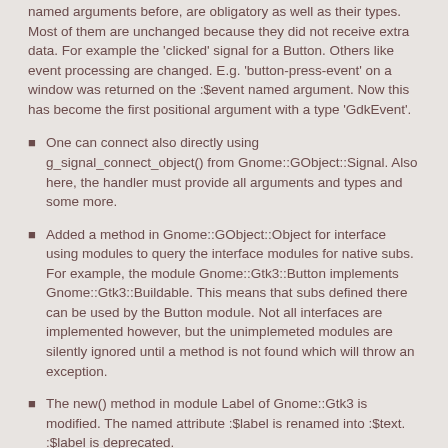named arguments before, are obligatory as well as their types. Most of them are unchanged because they did not receive extra data. For example the 'clicked' signal for a Button. Others like event processing are changed. E.g. 'button-press-event' on a window was returned on the :$event named argument. Now this has become the first positional argument with a type 'GdkEvent'.
One can connect also directly using g_signal_connect_object() from Gnome::GObject::Signal. Also here, the handler must provide all arguments and types and some more.
Added a method in Gnome::GObject::Object for interface using modules to query the interface modules for native subs. For example, the module Gnome::Gtk3::Button implements Gnome::Gtk3::Buildable. This means that subs defined there can be used by the Button module. Not all interfaces are implemented however, but the unimplemeted modules are silently ignored until a method is not found which will throw an exception.
The new() method in module Label of Gnome::Gtk3 is modified. The named attribute :$label is renamed into :$text. :$label is deprecated.